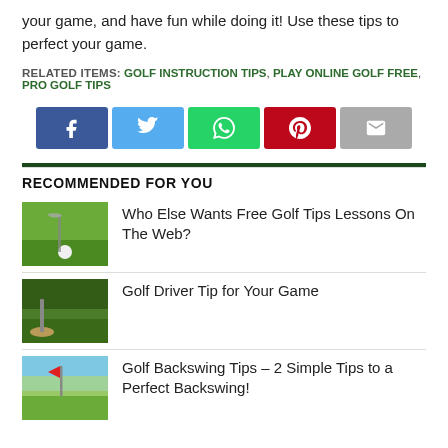your game, and have fun while doing it! Use these tips to perfect your game.
RELATED ITEMS: GOLF INSTRUCTION TIPS, PLAY ONLINE GOLF FREE, PRO GOLF TIPS
[Figure (other): Social sharing buttons: Facebook, Twitter, WhatsApp, Pinterest, Email]
RECOMMENDED FOR YOU
[Figure (photo): Golf ball near hole on green grass course]
Who Else Wants Free Golf Tips Lessons On The Web?
[Figure (photo): Golf driver club on green grass fairway with trees in background]
Golf Driver Tip for Your Game
[Figure (photo): Golf flag on green with blue sky]
Golf Backswing Tips – 2 Simple Tips to a Perfect Backswing!